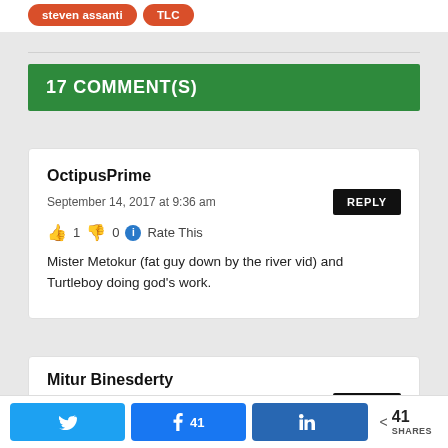steven assanti
TLC
17 COMMENT(S)
OctipusPrime
September 14, 2017 at 9:36 am
👍 1  👎 0  ℹ Rate This
Mister Metokur (fat guy down by the river vid) and Turtleboy doing god's work.
Mitur Binesderty
May 4, 2017 at 8:52 pm
Twitter  Facebook 41  LinkedIn  < 41 SHARES